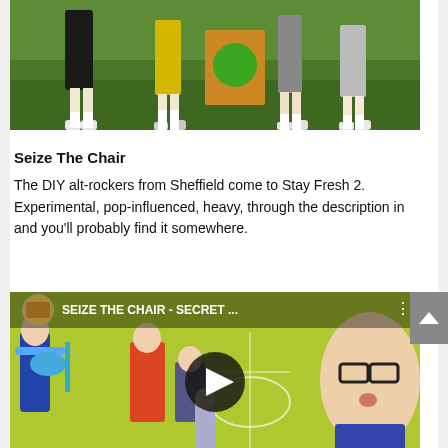[Figure (photo): Photo showing the lower half/legs of several people standing on grass, with white socks and sneakers visible, and a cardboard sign with green design]
Seize The Chair
The DIY alt-rockers from Sheffield come to Stay Fresh 2. Experimental, pop-influenced, heavy, through the description in and you'll probably find it somewhere.
[Figure (screenshot): YouTube video thumbnail for 'SEIZE THE CHAIR - SECRET ...' showing band members playing instruments against a yellow-green background, with a man wearing glasses on the right side, and a play button overlay in the center]